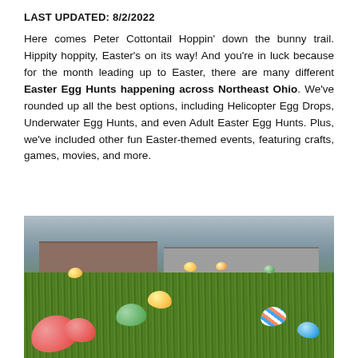LAST UPDATED: 8/2/2022
Here comes Peter Cottontail Hoppin' down the bunny trail. Hippity hoppity, Easter's on its way! And you're in luck because for the month leading up to Easter, there are many different Easter Egg Hunts happening across Northeast Ohio. We've rounded up all the best options, including Helicopter Egg Drops, Underwater Egg Hunts, and even Adult Easter Egg Hunts. Plus, we've included other fun Easter-themed events, featuring crafts, games, movies, and more.
[Figure (photo): Colorful Easter eggs (red, green, yellow, blue, striped) scattered across a green grass field with a building and trees in the blurred background.]